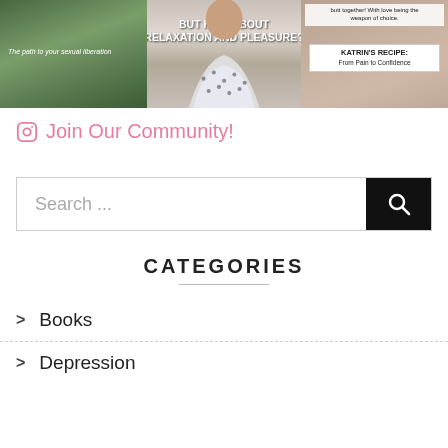[Figure (photo): Three-panel image strip showing: left panel - nature/trees background with text 'The path to your sexual liberation', center panel - woman in patterned dress with overlay text 'BUT HOW ABOUT RELAXATION AND PLEASURE?', right panel - peach/tan background with text overlay 'butt together! With love being the weapon of choice.' and 'KATRIN'S RECIPE: From Pain to Confidence']
Join Our Community!
Search ...
CATEGORIES
Books
Depression